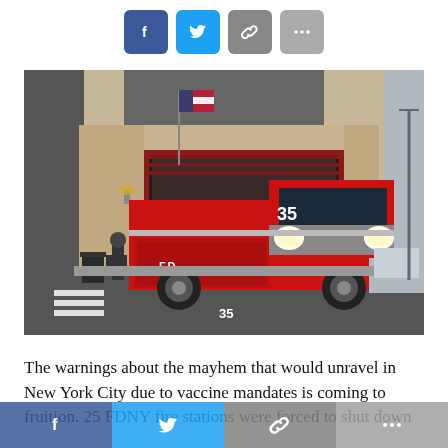[Figure (other): Four social media share buttons: Facebook (blue), Twitter (light blue), Link/chain (gray), More/ellipsis (gray)]
[Figure (photo): FDNY fire truck number 35 exiting a fire station with an American flag, a firefighter standing nearby, taken on a city street in New York City.]
The warnings about the mayhem that would unravel in New York City due to vaccine mandates is coming to fruition. 25 FDNY fire stations were forced to shut down